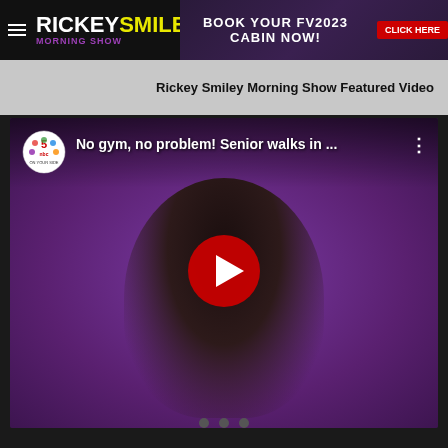RICKEY SMILEY MORNING SHOW
[Figure (screenshot): Ad banner reading BOOK YOUR FV2023 CABIN NOW! with a red CLICK HERE button]
Rickey Smiley Morning Show Featured Video
[Figure (screenshot): YouTube video thumbnail showing an elderly Black woman in a purple sweater. Video title: No gym, no problem! Senior walks in ... NBC 5 logo visible top left. Large red YouTube play button in center.]
[Figure (other): Navigation dots at bottom (three gray circles)]